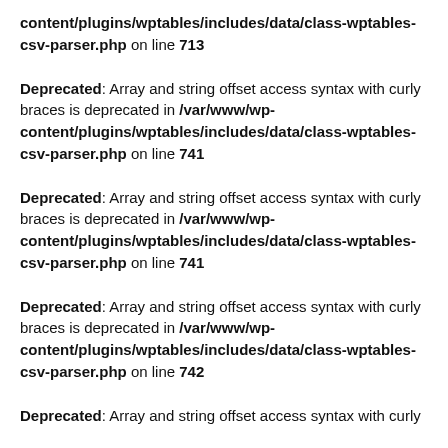content/plugins/wptables/includes/data/class-wptables-csv-parser.php on line 713
Deprecated: Array and string offset access syntax with curly braces is deprecated in /var/www/wp-content/plugins/wptables/includes/data/class-wptables-csv-parser.php on line 741
Deprecated: Array and string offset access syntax with curly braces is deprecated in /var/www/wp-content/plugins/wptables/includes/data/class-wptables-csv-parser.php on line 741
Deprecated: Array and string offset access syntax with curly braces is deprecated in /var/www/wp-content/plugins/wptables/includes/data/class-wptables-csv-parser.php on line 742
Deprecated: Array and string offset access syntax with curly braces is deprecated in ...